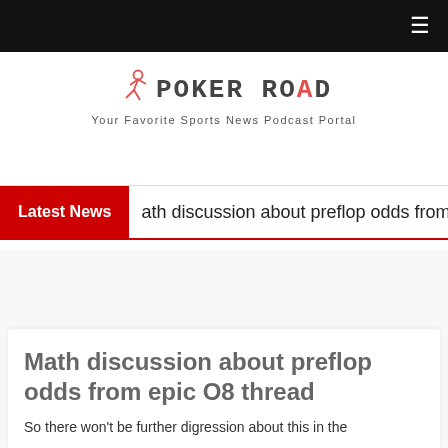≡
[Figure (logo): Poker Road logo with running figure icon and text 'POKER ROAD' with tagline 'Your Favorite Sports News Podcast Portal']
Latest News
ath discussion about preflop odds from e
Math discussion about preflop odds from epic O8 thread
So there won't be further digression about this in the